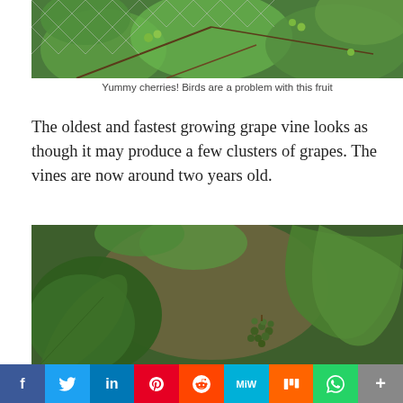[Figure (photo): Close-up photo of cherry tree with green unripe cherries behind chicken wire/netting fencing]
Yummy cherries! Birds are a problem with this fruit
The oldest and fastest growing grape vine looks as though it may produce a few clusters of grapes. The vines are now around two years old.
[Figure (photo): Close-up photo of grape vine leaves with small immature grape clusters forming]
f  Twitter  in  Pinterest  Reddit  MW  Mix  WhatsApp  More